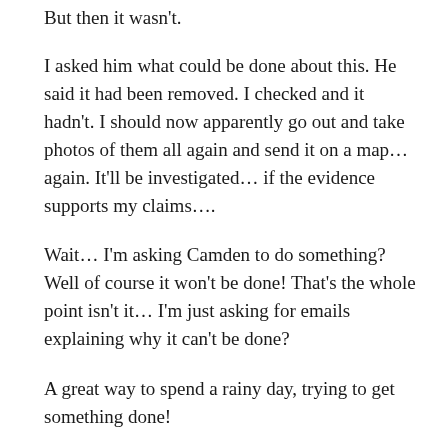But then it wasn't.
I asked him what could be done about this. He said it had been removed. I checked and it hadn't. I should now apparently go out and take photos of them all again and send it on a map… again. It'll be investigated… if the evidence supports my claims….
Wait… I'm asking Camden to do something? Well of course it won't be done! That's the whole point isn't it… I'm just asking for emails explaining why it can't be done?
A great way to spend a rainy day, trying to get something done!
Can't Do!